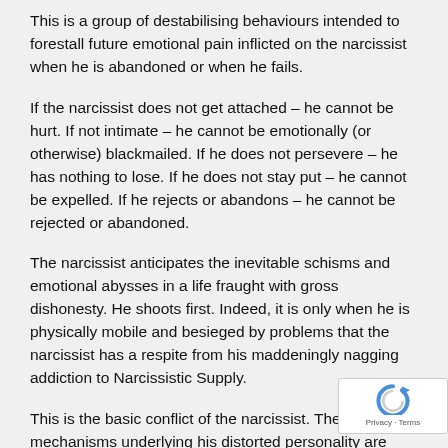This is a group of destabilising behaviours intended to forestall future emotional pain inflicted on the narcissist when he is abandoned or when he fails.
If the narcissist does not get attached – he cannot be hurt. If not intimate – he cannot be emotionally (or otherwise) blackmailed. If he does not persevere – he has nothing to lose. If he does not stay put – he cannot be expelled. If he rejects or abandons – he cannot be rejected or abandoned.
The narcissist anticipates the inevitable schisms and emotional abysses in a life fraught with gross dishonesty. He shoots first. Indeed, it is only when he is physically mobile and besieged by problems that the narcissist has a respite from his maddeningly nagging addiction to Narcissistic Supply.
This is the basic conflict of the narcissist. The two mechanisms underlying his distorted personality are